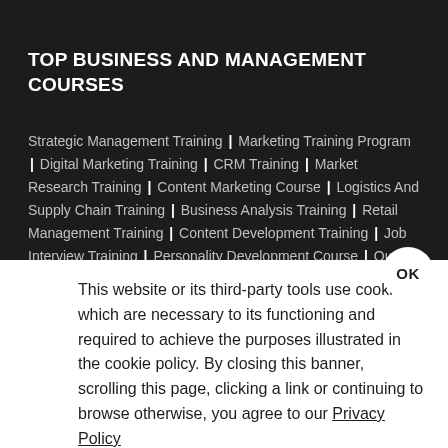TOP BUSINESS AND MANAGEMENT COURSES
Strategic Management Training | Marketing Training Program | Digital Marketing Training | CRM Training | Market Research Training | Content Marketing Course | Logistics And Supply Chain Training | Business Analysis Training | Retail Management Training | Content Development Training | Job Interview Training | Personality Development Course | Quality Management Training | Project Management Training Program | Agile Scrum Management Training | Project Cost Management
This website or its third-party tools use cookies, which are necessary to its functioning and required to achieve the purposes illustrated in the cookie policy. By closing this banner, scrolling this page, clicking a link or continuing to browse otherwise, you agree to our Privacy Policy
TRENDING RESOURCES